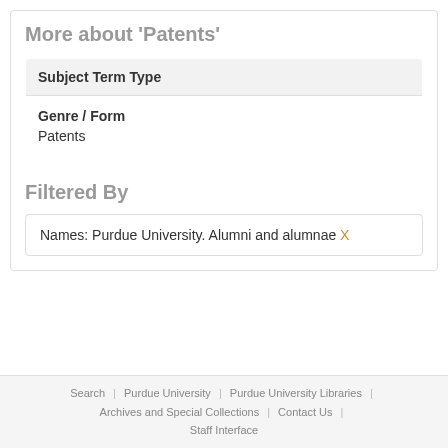More about 'Patents'
| Subject Term Type |
| --- |
| Genre / Form | Patents |
Filtered By
Names: Purdue University. Alumni and alumnae X
Search | Purdue University | Purdue University Libraries | Archives and Special Collections | Contact Us | Staff Interface